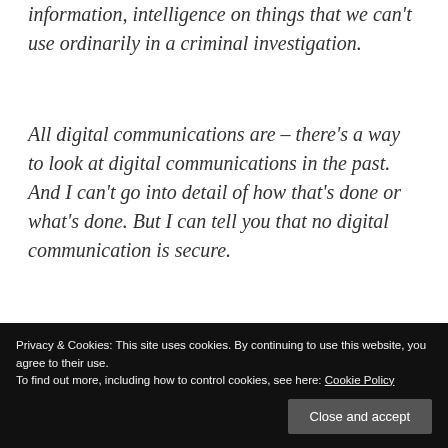information, intelligence on things that we can't use ordinarily in a criminal investigation.
All digital communications are – there's a way to look at digital communications in the past. And I can't go into detail of how that's done or what's done. But I can tell you that no digital communication is secure.
JUDY WOODRUFF: Tice says after he saw this interview on television, he called
came up, was NSA collecting everything
Privacy & Cookies: This site uses cookies. By continuing to use this website, you agree to their use.
To find out more, including how to control cookies, see here: Cookie Policy